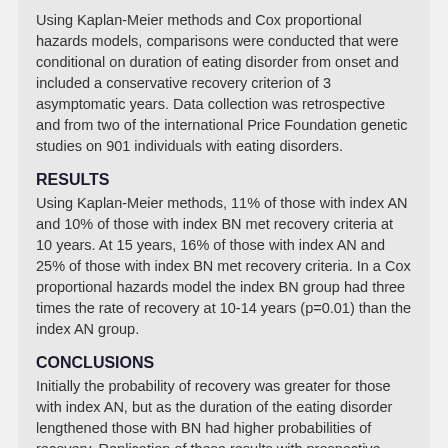Using Kaplan-Meier methods and Cox proportional hazards models, comparisons were conducted that were conditional on duration of eating disorder from onset and included a conservative recovery criterion of 3 asymptomatic years. Data collection was retrospective and from two of the international Price Foundation genetic studies on 901 individuals with eating disorders.
RESULTS
Using Kaplan-Meier methods, 11% of those with index AN and 10% of those with index BN met recovery criteria at 10 years. At 15 years, 16% of those with index AN and 25% of those with index BN met recovery criteria. In a Cox proportional hazards model the index BN group had three times the rate of recovery at 10-14 years (p=0.01) than the index AN group.
CONCLUSIONS
Initially the probability of recovery was greater for those with index AN, but as the duration of the eating disorder lengthened those with BN had higher probabilities of recovery. Replication of these results with prospective data using similarly stringent recovery criteria and methods is required to confirm trends.
Links